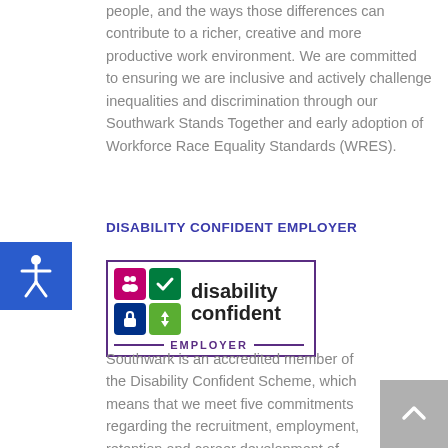people, and the ways those differences can contribute to a richer, creative and more productive work environment. We are committed to ensuring we are inclusive and actively challenge inequalities and discrimination through our Southwark Stands Together and early adoption of Workforce Race Equality Standards (WRES).
DISABILITY CONFIDENT EMPLOYER
[Figure (logo): Disability Confident Employer logo with coloured icon grid and purple border]
Southwark is an accredited member of the Disability Confident Scheme, which means that we meet five commitments regarding the recruitment, employment, retention and career development of people with disabilities. We also place great emphasis on supporting our disabled employees...